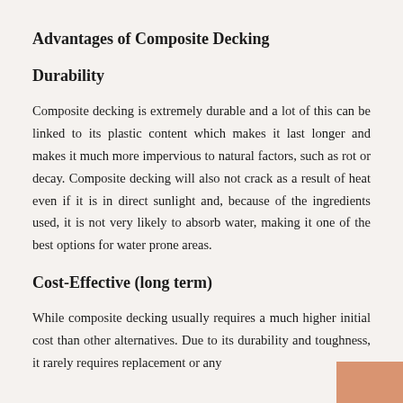Advantages of Composite Decking
Durability
Composite decking is extremely durable and a lot of this can be linked to its plastic content which makes it last longer and makes it much more impervious to natural factors, such as rot or decay. Composite decking will also not crack as a result of heat even if it is in direct sunlight and, because of the ingredients used, it is not very likely to absorb water, making it one of the best options for water prone areas.
Cost-Effective (long term)
While composite decking usually requires a much higher initial cost than other alternatives. Due to its durability and toughness, it rarely requires replacement or any